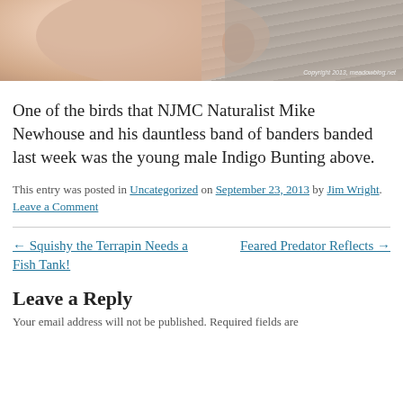[Figure (photo): Close-up photo of a young male Indigo Bunting bird being held, showing the face and feathers. Copyright 2013, meadowblog.net appears in bottom right corner.]
One of the birds that NJMC Naturalist Mike Newhouse and his dauntless band of banders banded last week was the young male Indigo Bunting above.
This entry was posted in Uncategorized on September 23, 2013 by Jim Wright. Leave a Comment
← Squishy the Terrapin Needs a Fish Tank!
Feared Predator Reflects →
Leave a Reply
Your email address will not be published. Required fields are